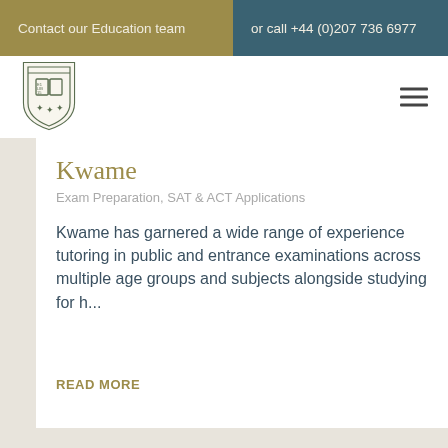Contact our Education team  or call +44 (0)207 736 6977
[Figure (logo): School or tutoring organisation crest/shield logo with open book and text]
Kwame
Exam Preparation, SAT & ACT Applications
Kwame has garnered a wide range of experience tutoring in public and entrance examinations across multiple age groups and subjects alongside studying for h...
READ MORE